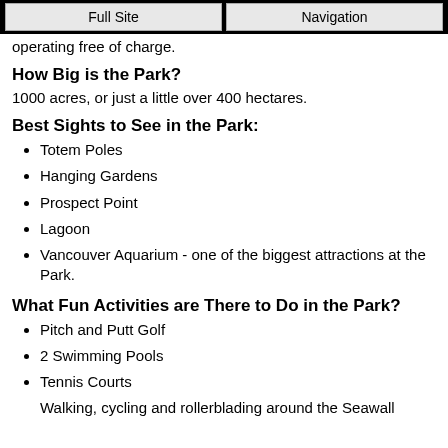Full Site | Navigation
operating free of charge.
How Big is the Park?
1000 acres, or just a little over 400 hectares.
Best Sights to See in the Park:
Totem Poles
Hanging Gardens
Prospect Point
Lagoon
Vancouver Aquarium - one of the biggest attractions at the Park.
What Fun Activities are There to Do in the Park?
Pitch and Putt Golf
2 Swimming Pools
Tennis Courts
Walking, cycling and rollerblading around the Seawall